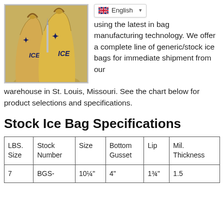[Figure (photo): Three golden yellow ice bags with ICE ICE text and star logos on them]
with th... s using the latest in bag manufacturing technology. We offer a complete line of generic/stock ice bags for immediate shipment from our warehouse in St. Louis, Missouri. See the chart below for product selections and specifications.
Stock Ice Bag Specifications
| LBS. Size | Stock Number | Size | Bottom Gusset | Lip | Mil. Thickness |
| --- | --- | --- | --- | --- | --- |
| 7 | BGS- | 10¼" | 4" | 1¾" | 1.5 |